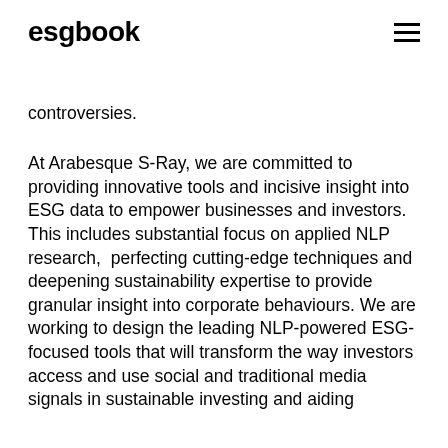esgbook
controversies.
At Arabesque S-Ray, we are committed to providing innovative tools and incisive insight into ESG data to empower businesses and investors. This includes substantial focus on applied NLP research,  perfecting cutting-edge techniques and deepening sustainability expertise to provide granular insight into corporate behaviours. We are working to design the leading NLP-powered ESG-focused tools that will transform the way investors access and use social and traditional media signals in sustainable investing and aiding